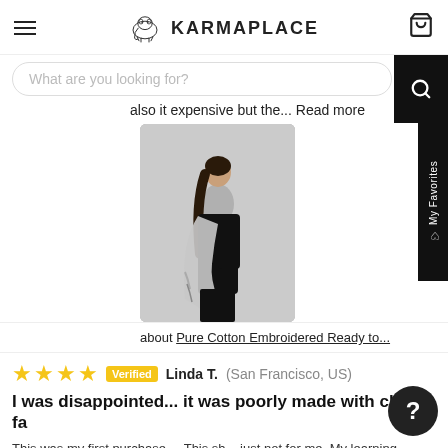KARMAPLACE
What are you looking for?
also it expensive but the... Read more
[Figure (photo): Woman wearing a black kurta with a grey dupatta/shawl, full-length Indian ethnic outfit]
about Pure Cotton Embroidered Ready to...
Verified Linda T. (San Francisco, US)
I was disappointed... it was poorly made with cheap fa
This was my first purchase.... This sh just not for me. My learning lesson.